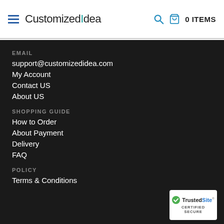CustomizedIdea 0 ITEMS
EMAIL
support@customizedidea.com
My Account
Contact US
About US
SHOPPING GUIDE
How to Order
About Payment
Delivery
FAQ
POLICY
Terms & Conditions
[Figure (logo): TrustedSite Certified Secure badge]